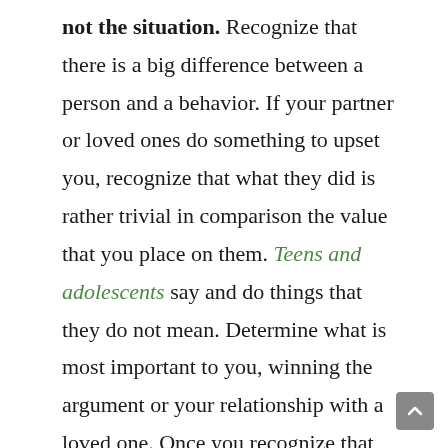not the situation. Recognize that there is a big difference between a person and a behavior. If your partner or loved ones do something to upset you, recognize that what they did is rather trivial in comparison the value that you place on them. Teens and adolescents say and do things that they do not mean. Determine what is most important to you, winning the argument or your relationship with a loved one. Once you recognize that you value the person and your relationship with them more than a given situation or behavior, the easier it will be for you to let it go